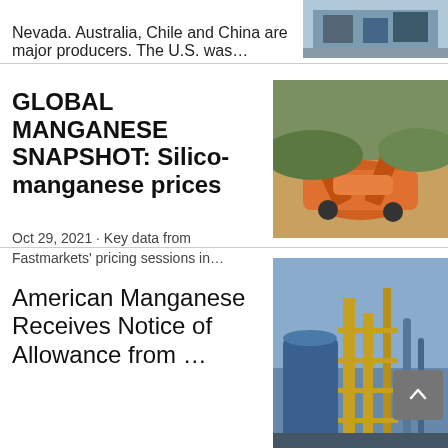Nevada. Australia, Chile and China are major producers. The U.S. was...
[Figure (photo): Industrial facility building exterior, blue-grey tones]
GLOBAL MANGANESE SNAPSHOT: Silico-manganese prices
Oct 29, 2021 · Key data from Fastmarkets' pricing sessions in...
[Figure (photo): Orange mining/crushing equipment machinery outdoors]
[Figure (photo): Small broken image icon]
American Manganese Receives Notice of Allowance from ...
[Figure (photo): Industrial plant with blue tanks and yellow metal structure]